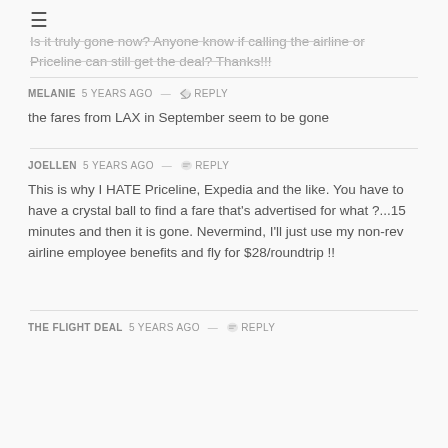☰
Is it truly gone now? Anyone know if calling the airline or Priceline can still get the deal? Thanks!!!
MELANIE 5 years ago — Reply
the fares from LAX in September seem to be gone
JOELLEN 5 years ago — Reply
This is why I HATE Priceline, Expedia and the like. You have to have a crystal ball to find a fare that's advertised for what ?...15 minutes and then it is gone. Nevermind, I'll just use my non-rev airline employee benefits and fly for $28/roundtrip !!
THE FLIGHT DEAL 5 years ago — Reply